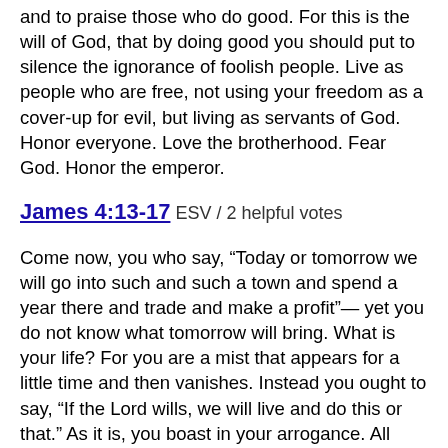and to praise those who do good. For this is the will of God, that by doing good you should put to silence the ignorance of foolish people. Live as people who are free, not using your freedom as a cover-up for evil, but living as servants of God. Honor everyone. Love the brotherhood. Fear God. Honor the emperor.
James 4:13-17 ESV / 2 helpful votes
Come now, you who say, “Today or tomorrow we will go into such and such a town and spend a year there and trade and make a profit”— yet you do not know what tomorrow will bring. What is your life? For you are a mist that appears for a little time and then vanishes. Instead you ought to say, “If the Lord wills, we will live and do this or that.” As it is, you boast in your arrogance. All such boasting is evil. So whoever knows the right thing to do and fails to do it, for him it is sin.
James 4:1-12 ESV / 2 helpful votes
What causes quarrels and what causes fights among you? Is it not this, that your passions are at war within you? You desire and do not have, so you murder. You